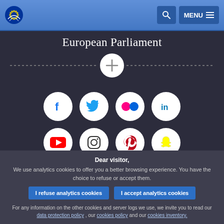European Parliament website header with logo, search and menu buttons
European Parliament
[Figure (infographic): Social media icons row 1: Facebook, Twitter, Flickr, LinkedIn; row 2: YouTube, Instagram, Pinterest, Snapchat, with a plus/expand button above]
Dear visitor, We use analytics cookies to offer you a better browsing experience. You have the choice to refuse or accept them.
I refuse analytics cookies
I accept analytics cookies
For any information on the other cookies and server logs we use, we invite you to read our data protection policy , our cookies policy and our cookies inventory.